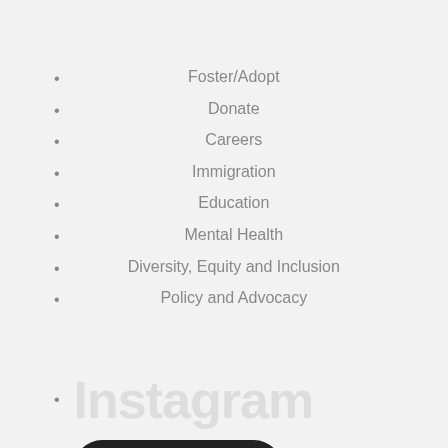Foster/Adopt
Donate
Careers
Immigration
Education
Mental Health
Diversity, Equity and Inclusion
Policy and Advocacy
SUBSCRIBE →